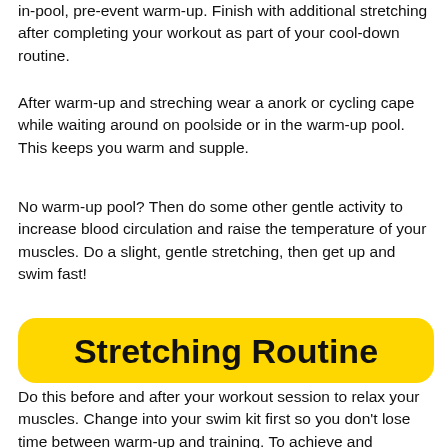in-pool, pre-event warm-up. Finish with additional stretching after completing your workout as part of your cool-down routine.
After warm-up and streching wear a anork or cycling cape while waiting around on poolside or in the warm-up pool. This keeps you warm and supple.
No warm-up pool? Then do some other gentle activity to increase blood circulation and raise the temperature of your muscles. Do a slight, gentle stretching, then get up and swim fast!
Stretching Routine
Do this before and after your workout session to relax your muscles. Change into your swim kit first so you don't lose time between warm-up and training. To achieve and maintain the benefits of an aquatic exercise